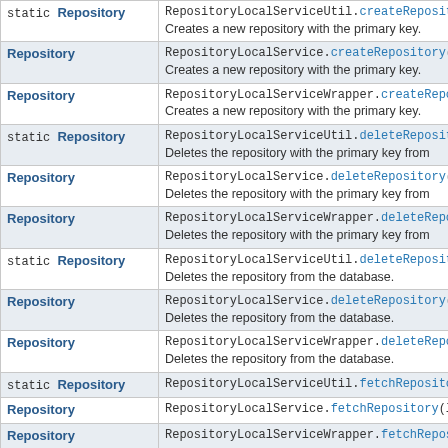| Return Type | Method and Description |
| --- | --- |
| static Repository | RepositoryLocalServiceUtil.createRepository
Creates a new repository with the primary key. |
| Repository | RepositoryLocalService.createRepository(lo
Creates a new repository with the primary key. |
| Repository | RepositoryLocalServiceWrapper.createReposi
Creates a new repository with the primary key. |
| static Repository | RepositoryLocalServiceUtil.deleteRepository
Deletes the repository with the primary key from |
| Repository | RepositoryLocalService.deleteRepository(le
Deletes the repository with the primary key from |
| Repository | RepositoryLocalServiceWrapper.deleteReposi
Deletes the repository with the primary key from |
| static Repository | RepositoryLocalServiceUtil.deleteRepository
Deletes the repository from the database. |
| Repository | RepositoryLocalService.deleteRepository(Re
Deletes the repository from the database. |
| Repository | RepositoryLocalServiceWrapper.deleteReposi
Deletes the repository from the database. |
| static Repository | RepositoryLocalServiceUtil.fetchRepository( |
| Repository | RepositoryLocalService.fetchRepository(lo |
| Repository | RepositoryLocalServiceWrapper.fetchReposit |
| static Repository | RepositoryLocalServiceUtil.fetchRepository( |
| Repository | RepositoryLocalService.fetchRepository(lo |